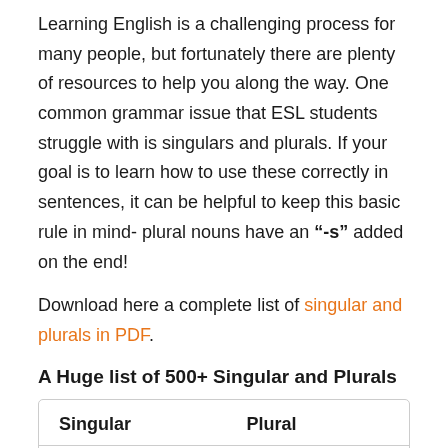Learning English is a challenging process for many people, but fortunately there are plenty of resources to help you along the way. One common grammar issue that ESL students struggle with is singulars and plurals. If your goal is to learn how to use these correctly in sentences, it can be helpful to keep this basic rule in mind- plural nouns have an “-s” added on the end!
Download here a complete list of singular and plurals in PDF.
A Huge list of 500+ Singular and Plurals
| Singular | Plural |
| --- | --- |
| march | marches |
| market | markets |